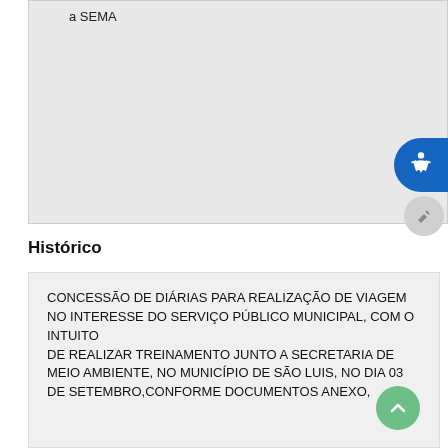a SEMA
Histórico
CONCESSÃO DE DIÁRIAS PARA REALIZAÇÃO DE VIAGEM NO INTERESSE DO SERVIÇO PÚBLICO MUNICIPAL, COM O INTUITO DE REALIZAR TREINAMENTO JUNTO A SECRETARIA DE MEIO AMBIENTE, NO MUNICÍPIO DE SÃO LUIS, NO DIA 03 DE SETEMBRO,CONFORME DOCUMENTOS ANEXO,